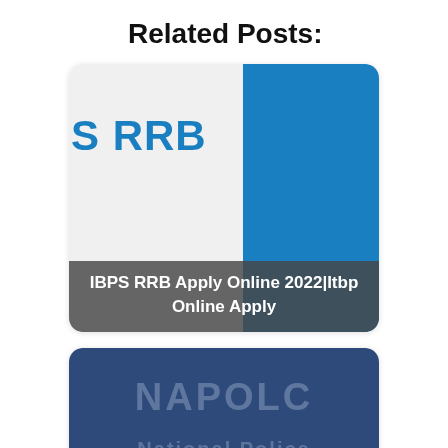Related Posts:
[Figure (photo): IBPS RRB Apply Online 2022 card with blue graphic and text overlay]
IBPS RRB Apply Online 2022|Itbp Online Apply
[Figure (photo): Napolcom Online Registration 2022 card with dark blue background and text overlay]
Napolcom Online Registration 2022|@napolcom-oleass.com
[Figure (photo): Third related post card with teal background, partially visible]